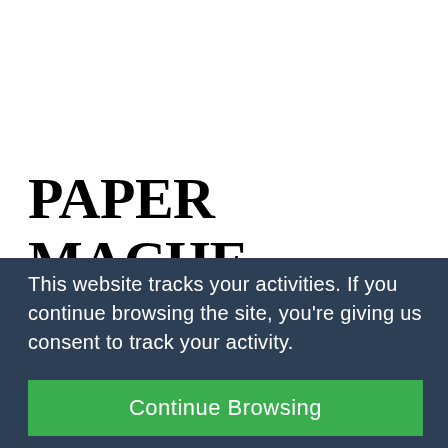PAPER MACHE MEMORY BOX
This website tracks your activities. If you continue browsing the site, you're giving us consent to track your activity.
Continue Browsing